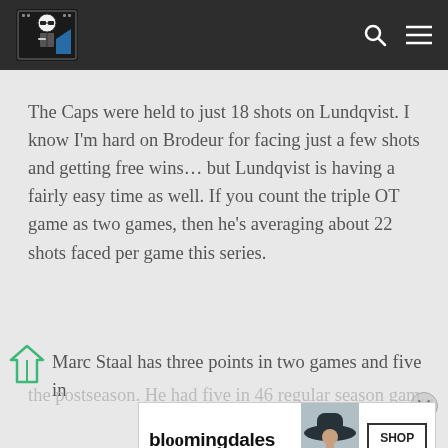[Website header with logo, search icon, and menu icon]
The Caps were held to just 18 shots on Lundqvist. I know I'm hard on Brodeur for facing just a few shots and getting free wins… but Lundqvist is having a fairly easy time as well. If you count the triple OT game as two games, then he's averaging about 22 shots faced per game this series.
Marc Staal has three points in two games and five in the postseason. He had five in 46 regular season gam...